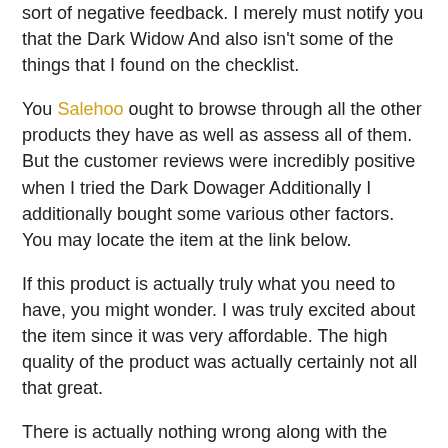sort of negative feedback. I merely must notify you that the Dark Widow And also isn't some of the things that I found on the checklist.
You Salehoo ought to browse through all the other products they have as well as assess all of them. But the customer reviews were incredibly positive when I tried the Dark Dowager Additionally I additionally bought some various other factors. You may locate the item at the link below.
If this product is actually truly what you need to have, you might wonder. I was truly excited about the item since it was very affordable. The high quality of the product was actually certainly not all that great.
There is actually nothing wrong along with the product. I am actually let down given that the delivery was actually incredibly costly as well as it didn't included the correct directions.